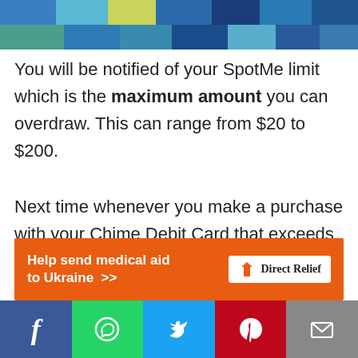[Figure (photo): Colorful tiled mosaic header image with blue, teal, green, and dark blue tiles]
You will be notified of your SpotMe limit which is the maximum amount you can overdraw. This can range from $20 to $200.
Next time whenever you make a purchase with your Chime Debit Card that exceeds your balance, Chime will automatically spot you for the excess amount if it is within your SpotMe Limit. This overdrawn amount is a
[Figure (infographic): Orange advertisement banner: Help send medical aid to Ukraine >> DirectRelief logo]
[Figure (infographic): Social media sharing bar with Facebook, WhatsApp, Twitter, Pinterest, and Email buttons]